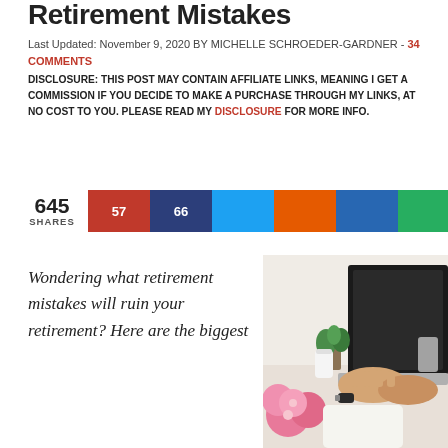Retirement Mistakes
Last Updated: November 9, 2020 BY MICHELLE SCHROEDER-GARDNER - 34 COMMENTS
DISCLOSURE: THIS POST MAY CONTAIN AFFILIATE LINKS, MEANING I GET A COMMISSION IF YOU DECIDE TO MAKE A PURCHASE THROUGH MY LINKS, AT NO COST TO YOU. PLEASE READ MY DISCLOSURE FOR MORE INFO.
[Figure (infographic): Social share bar showing 645 total shares. Buttons: Pinterest (57), Facebook (66), Twitter, Reddit, LinkedIn, WhatsApp in red, dark blue, light blue, orange, medium blue, green colors respectively.]
Wondering what retirement mistakes will ruin your retirement? Here are the biggest
[Figure (photo): Person typing on a laptop computer with pink flowers, a small green plant, a white cup, and pencil holder visible on a white desk. The person is wearing a white sweater and bracelet.]